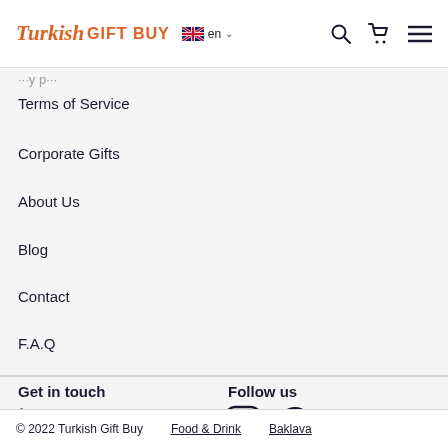Turkish GIFT BUY  en
Terms of Service
Corporate Gifts
About Us
Blog
Contact
F.A.Q
Get in touch
+90 505 868 82 83
Email us
Follow us
[Figure (logo): Instagram and Facebook social media icons]
© 2022 Turkish Gift Buy   Food & Drink   Baklava